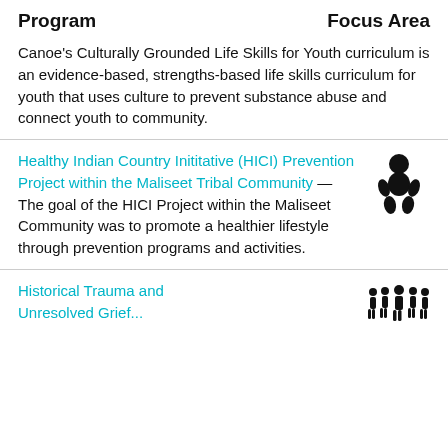Program	Focus Area
Canoe's Culturally Grounded Life Skills for Youth curriculum is an evidence-based, strengths-based life skills curriculum for youth that uses culture to prevent substance abuse and connect youth to community.
Healthy Indian Country Inititative (HICI) Prevention Project within the Maliseet Tribal Community — The goal of the HICI Project within the Maliseet Community was to promote a healthier lifestyle through prevention programs and activities.
Historical Trauma and Unresolved Grief...